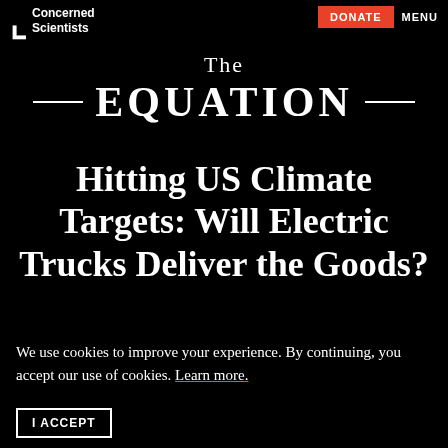Concerned Scientists | DONATE | MENU
The EQUATION
Hitting US Climate Targets: Will Electric Trucks Deliver the Goods?
We use cookies to improve your experience. By continuing, you accept our use of cookies. Learn more.
I ACCEPT